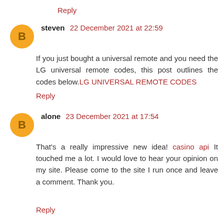Reply
steven 22 December 2021 at 22:59
If you just bought a universal remote and you need the LG universal remote codes, this post outlines the codes below.LG UNIVERSAL REMOTE CODES
Reply
alone 23 December 2021 at 17:54
That's a really impressive new idea! casino api It touched me a lot. I would love to hear your opinion on my site. Please come to the site I run once and leave a comment. Thank you.
Reply